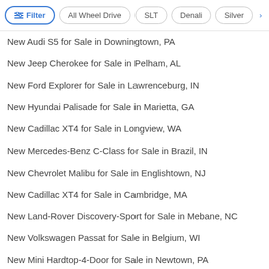Filter | All Wheel Drive | SLT | Denali | Silver >
New Audi S5 for Sale in Downingtown, PA
New Jeep Cherokee for Sale in Pelham, AL
New Ford Explorer for Sale in Lawrenceburg, IN
New Hyundai Palisade for Sale in Marietta, GA
New Cadillac XT4 for Sale in Longview, WA
New Mercedes-Benz C-Class for Sale in Brazil, IN
New Chevrolet Malibu for Sale in Englishtown, NJ
New Cadillac XT4 for Sale in Cambridge, MA
New Land-Rover Discovery-Sport for Sale in Mebane, NC
New Volkswagen Passat for Sale in Belgium, WI
New Mini Hardtop-4-Door for Sale in Newtown, PA
New Polestar 2 for Sale in Carbondale, PA
New Mclaren 765Lt-Spider for Sale in Pensacola, FL
Used Nissan GT-R in Leesburg, FL
New Hyundai Elantra for Sale in Chino, CA
New Kia Forte for Sale in Issaquah, WA